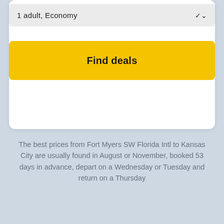1 adult, Economy
Find deals
The best prices from Fort Myers SW Florida Intl to Kansas City are usually found in August or November, booked 53 days in advance, depart on a Wednesday or Tuesday and return on a Thursday